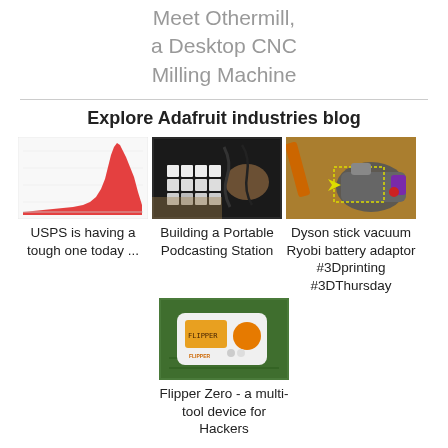Meet Othermill, a Desktop CNC Milling Machine
Explore Adafruit industries blog
[Figure (continuous-plot): Red area chart/histogram showing a spike - USPS delivery data visualization]
USPS is having a tough one today ...
[Figure (photo): Photo of audio equipment and MIDI controller in a box for portable podcasting station]
Building a Portable Podcasting Station
[Figure (photo): Photo of Dyson stick vacuum with Ryobi battery adaptor, highlighted with yellow arrow and dotted outline]
Dyson stick vacuum Ryobi battery adaptor #3Dprinting #3DThursday
[Figure (photo): Photo of Flipper Zero device - white and orange handheld multi-tool gadget]
Flipper Zero - a multi-tool device for Hackers